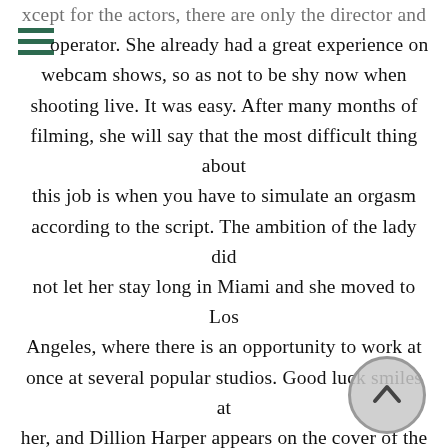except for the actors, there are only the director and operator. She already had a great experience on webcam shows, so as not to be shy now when shooting live. It was easy. After many months of filming, she will say that the most difficult thing about this job is when you have to simulate an orgasm according to the script. The ambition of the lady did not let her stay long in Miami and she moved to Los Angeles, where there is an opportunity to work at once at several popular studios. Good luck smiles at her, and Dillion Harper appears on the cover of the November issue of Hustler. Fans idolize her, and someone from the admirers suggested on twitter to buy her bra and panties from that shoot. The newly minted actress agrees to put them up for auction with a starting price of $300. She says that...